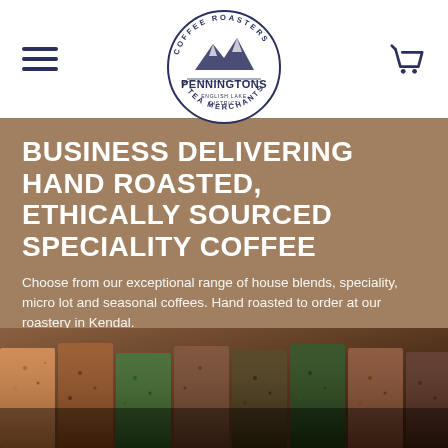[Figure (logo): Penningtons Coffee Roasters & Tea Merchants circular logo with mountain/landscape illustration and text 'PENNINGTONS' in bold, 'ENGLISH LAKE DISTRICT' and 'COFFEE ROASTERS & TEA MERCHANTS' around the circle]
BUSINESS DELIVERING HAND ROASTED, ETHICALLY SOURCED SPECIALITY COFFEE
Choose from our exceptional range of house blends, speciality, micro lot and seasonal coffees. Hand roasted to order at our roastery in Kendal.
SHOP NOW
[Figure (photo): Close-up photograph of various spices and loose leaf teas in wooden/white compartmentalized boxes or bins, showing dark and colorful dried herbs and spices from above at a slight angle]